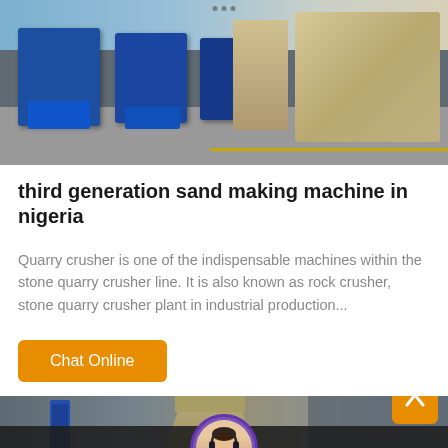[Figure (photo): Industrial factory floor with large blue machinery on the left and beige/tan heavy equipment on the right, gray concrete floor with yellow stripe]
third generation sand making machine in nigeria
Quarry crusher is one of the indispensable machines within the stone quarry crusher line. It is also known as rock crusher, stone quarry crusher plant in industrial production...
[Figure (photo): Industrial factory/warehouse exterior with blue sign, cone-shaped crusher machine, and gray metal buildings in background]
Leave Message  Chat Online